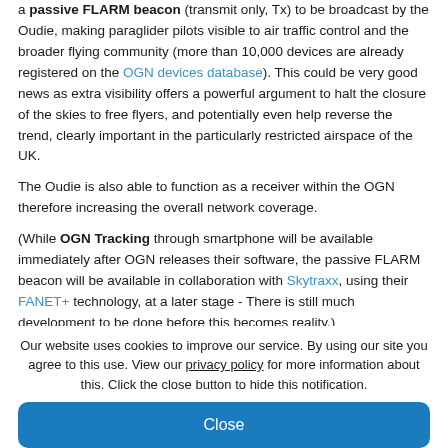a passive FLARM beacon (transmit only, Tx) to be broadcast by the Oudie, making paraglider pilots visible to air traffic control and the broader flying community (more than 10,000 devices are already registered on the OGN devices database). This could be very good news as extra visibility offers a powerful argument to halt the closure of the skies to free flyers, and potentially even help reverse the trend, clearly important in the particularly restricted airspace of the UK.
The Oudie is also able to function as a receiver within the OGN therefore increasing the overall network coverage.
(While OGN Tracking through smartphone will be available immediately after OGN releases their software, the passive FLARM beacon will be available in collaboration with Skytraxx, using their FANET+ technology, at a later stage - There is still much development to be done before this becomes reality.)
Of course...
Our website uses cookies to improve our service. By using our site you agree to this use. View our privacy policy for more information about this. Click the close button to hide this notification.
Close